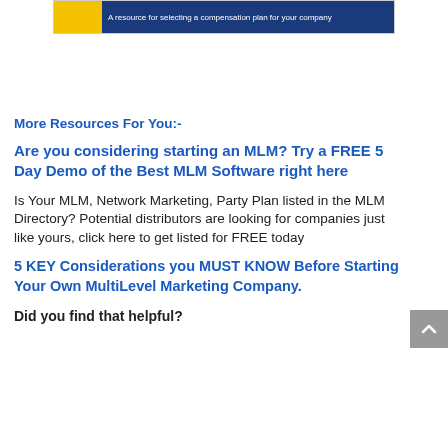[Figure (other): Banner image with yellow and dark blue sections. Blue section reads: A resource for selecting a compensation plan for your company]
More Resources For You:-
Are you considering starting an MLM? Try a FREE 5 Day Demo of the Best MLM Software right here
Is Your MLM, Network Marketing, Party Plan listed in the MLM Directory? Potential distributors are looking for companies just like yours, click here to get listed for FREE today
5 KEY Considerations you MUST KNOW Before Starting Your Own MultiLevel Marketing Company.
Did you find that helpful?